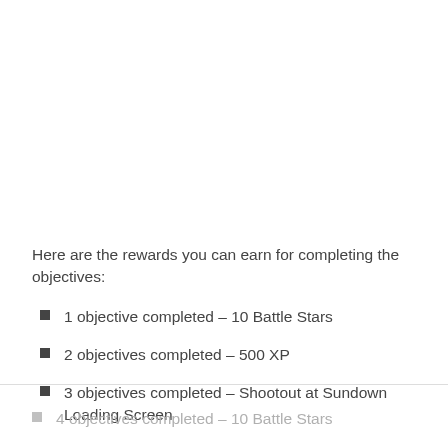Here are the rewards you can earn for completing the objectives:
1 objective completed – 10 Battle Stars
2 objectives completed – 500 XP
3 objectives completed – Shootout at Sundown Loading Screen
4 objectives completed – 10 Battle Stars